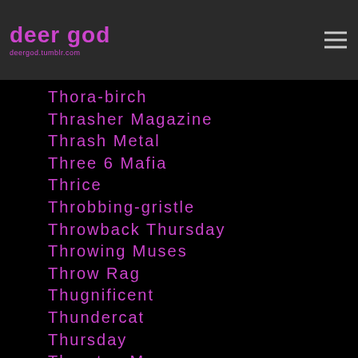deer god
Thora-birch
Thrasher Magazine
Thrash Metal
Three 6 Mafia
Thrice
Throbbing-gristle
Throwback Thursday
Throwing Muses
Throw Rag
Thugnificent
Thundercat
Thursday
Thurston Moore
Thurston-moore
Thyartismurder
Tibet
Tibetan Buddhism